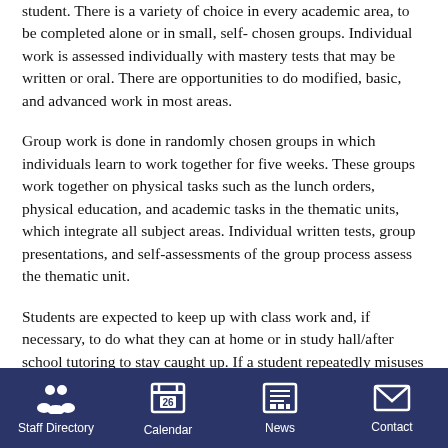student. There is a variety of choice in every academic area, to be completed alone or in small, self- chosen groups. Individual work is assessed individually with mastery tests that may be written or oral. There are opportunities to do modified, basic, and advanced work in most areas.
Group work is done in randomly chosen groups in which individuals learn to work together for five weeks. These groups work together on physical tasks such as the lunch orders, physical education, and academic tasks in the thematic units, which integrate all subject areas. Individual written tests, group presentations, and self-assessments of the group process assess the thematic unit.
Students are expected to keep up with class work and, if necessary, to do what they can at home or in study hall/after school tutoring to stay caught up. If a student repeatedly misuses class time or interferes with the work of his/her classmates, a conference is held and an action plan is set up
Staff Directory   Calendar   News   Contact